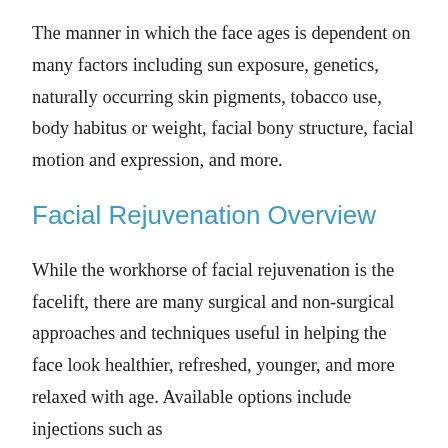The manner in which the face ages is dependent on many factors including sun exposure, genetics, naturally occurring skin pigments, tobacco use, body habitus or weight, facial bony structure, facial motion and expression, and more.
Facial Rejuvenation Overview
While the workhorse of facial rejuvenation is the facelift, there are many surgical and non-surgical approaches and techniques useful in helping the face look healthier, refreshed, younger, and more relaxed with age. Available options include injections such as